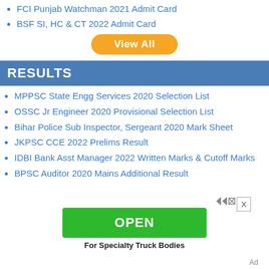FCI Punjab Watchman 2021 Admit Card
BSF SI, HC & CT 2022 Admit Card
[Figure (other): Orange 'View All' button]
RESULTS
MPPSC State Engg Services 2020 Selection List
OSSC Jr Engineer 2020 Provisional Selection List
Bihar Police Sub Inspector, Sergeant 2020 Mark Sheet
JKPSC CCE 2022 Prelims Result
IDBI Bank Asst Manager 2022 Written Marks & Cutoff Marks
BPSC Auditor 2020 Mains Additional Result
[Figure (other): Green OPEN advertisement button with 'For Specialty Truck Bodies' text below]
Ad